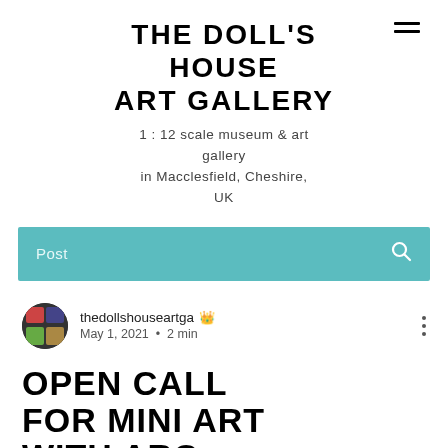THE DOLL'S HOUSE ART GALLERY
1:12 scale museum & art gallery
in Macclesfield, Cheshire, UK
Post
thedollshouseartga 👑
May 1, 2021 · 2 min
OPEN CALL FOR MINI ART WITH ARC,